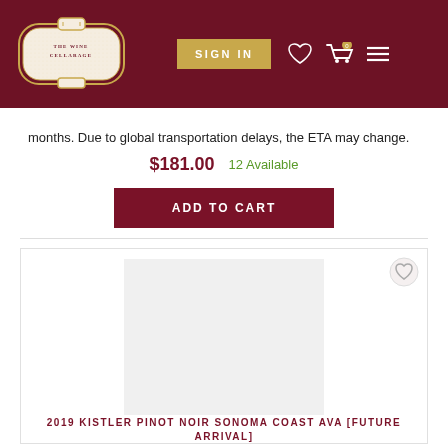The Wine Cellarage — SIGN IN — [wishlist icon] [cart icon] [menu icon]
months. Due to global transportation delays, the ETA may change.
$181.00  12 Available
ADD TO CART
[Figure (photo): Product image placeholder (light grey rectangle) for wine bottle]
2019 KISTLER PINOT NOIR SONOMA COAST AVA [FUTURE ARRIVAL]